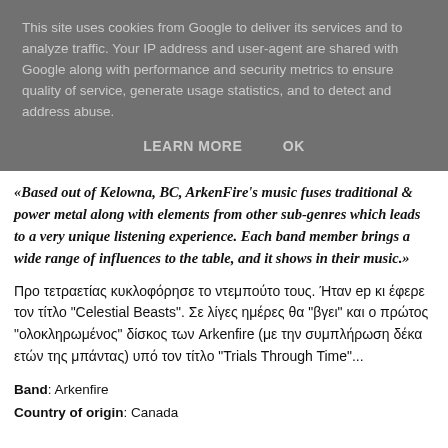This site uses cookies from Google to deliver its services and to analyze traffic. Your IP address and user-agent are shared with Google along with performance and security metrics to ensure quality of service, generate usage statistics, and to detect and address abuse.
LEARN MORE   OK
«Based out of Kelowna, BC, ArkenFire's music fuses traditional & power metal along with elements from other sub-genres which leads to a very unique listening experience. Each band member brings a wide range of influences to the table, and it shows in their music.»
Προ τετραετίας κυκλοφόρησε το ντεμπούτο τους. Ήταν ep κι έφερε τον τίτλο "Celestial Beasts". Σε λίγες ημέρες θα "βγει" και ο πρώτος "ολοκληρωμένος" δίσκος των Arkenfire (με την συμπλήρωση δέκα ετών της μπάντας) υπό τον τίτλο "Trials Through Time"...
Band: Arkenfire
Country of origin: Canada